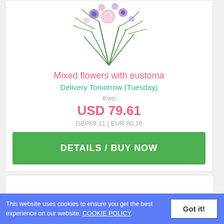[Figure (illustration): Flower bouquet with mixed flowers including eustoma, greenery and purple/pink flowers at the top of a product card]
Mixed flowers with eustoma
Delivery Tomorrow (Tuesday)
from
USD 79.61
GBP69.11 | EUR 80.16
DETAILS / BUY NOW
This website uses cookies to ensure you get the best experience on our website. COOKIE POLICY.
Got it!